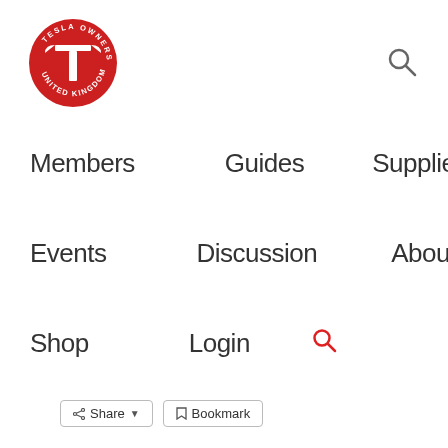[Figure (logo): Tesla Owners United Kingdom circular red logo with Tesla T emblem and text around the border]
[Figure (other): Search magnifying glass icon, grey, top right]
Members
Guides
Suppliers
Events
Discussion
About
Shop
Login
[Figure (other): Red search magnifying glass icon]
Share   Bookmark